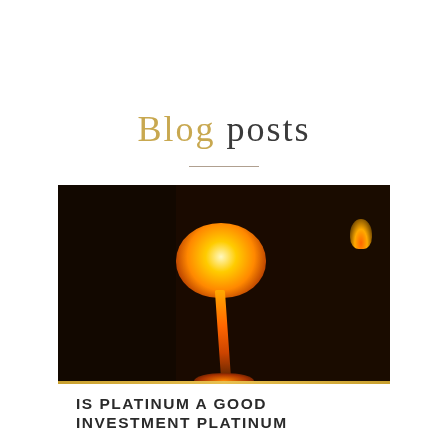Blog posts
[Figure (photo): A metalworker pouring molten metal from a crucible, with a glowing orange sphere of molten material and a stream of liquid metal pouring down, set in a dark forge environment with fire visible in the background.]
IS PLATINUM A GOOD INVESTMENT PLATINUM